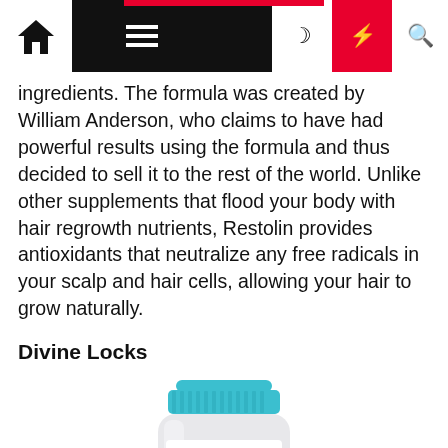Navigation bar with home, menu, moon, bolt, and search icons
ingredients. The formula was created by William Anderson, who claims to have had powerful results using the formula and thus decided to sell it to the rest of the world. Unlike other supplements that flood your body with hair regrowth nutrients, Restolin provides antioxidants that neutralize any free radicals in your scalp and hair cells, allowing your hair to grow naturally.
Divine Locks
[Figure (photo): Product bottle of Divine Locks supplement by Inner Beauty & You, with a teal/turquoise cap and label reading DIVINE LOCKS. The label states 'Supports the restoration of thicker, healthier, more youthful hair.' with icons at the bottom and a woman with long hair visible on the side.]